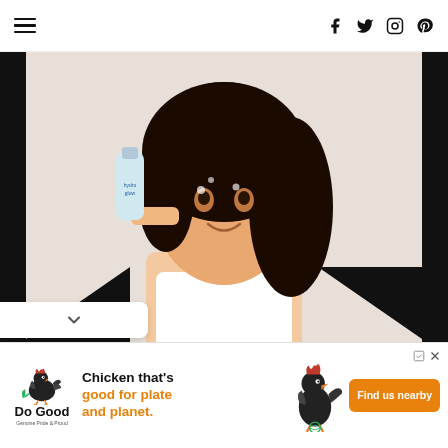Navigation header with hamburger menu and social icons (Facebook, Twitter, Instagram, Pinterest)
[Figure (photo): Woman with curly dark hair smiling, holding a beauty/skincare product near her face, wearing a white tank top, with highlight dots on her face. Photo displayed in a styled frame with black chevron/triangle decorative borders.]
...website uses cookies to improve your experience. We'll
[Figure (infographic): Advertisement banner for Do Good Chicken. Shows Do Good logo with rooster illustration, text 'Chicken that's good for plate and planet.' in bold with orange text, rooster illustration, and orange 'Find us nearby' button.]